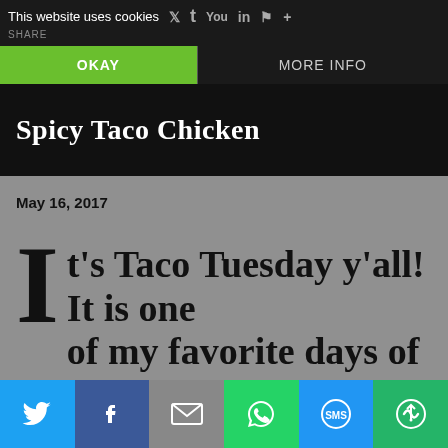This website uses cookies
SHARE
OKAY  MORE INFO
Spicy Taco Chicken
May 16, 2017
It's Taco Tuesday y'all! It is one of my favorite days of the